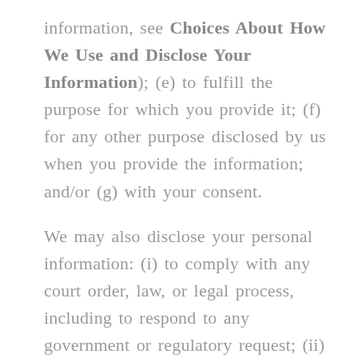information, see Choices About How We Use and Disclose Your Information); (e) to fulfill the purpose for which you provide it; (f) for any other purpose disclosed by us when you provide the information; and/or (g) with your consent.
We may also disclose your personal information: (i) to comply with any court order, law, or legal process, including to respond to any government or regulatory request; (ii) to enforce or apply our terms of use ([TERMS OF USE]) and other